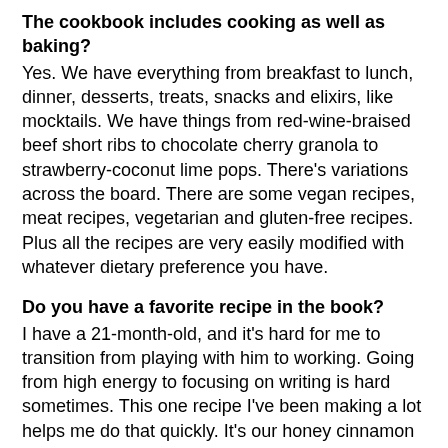The cookbook includes cooking as well as baking?
Yes. We have everything from breakfast to lunch, dinner, desserts, treats, snacks and elixirs, like mocktails. We have things from red-wine-braised beef short ribs to chocolate cherry granola to strawberry-coconut lime pops. There's variations across the board. There are some vegan recipes, meat recipes, vegetarian and gluten-free recipes. Plus all the recipes are very easily modified with whatever dietary preference you have.
Do you have a favorite recipe in the book?
I have a 21-month-old, and it's hard for me to transition from playing with him to working. Going from high energy to focusing on writing is hard sometimes. This one recipe I've been making a lot helps me do that quickly. It's our honey cinnamon latte. There's no coffee. It's just oat milk, or any milk you want, water, honey, ground cinnamon, ginger and a pinch of salt. It is so simple, but it really helps my mind quiet down, and it's great hot or iced.
How did you get the book to come to...